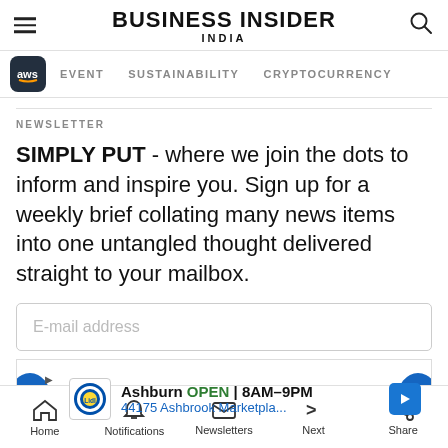BUSINESS INSIDER INDIA
EVENT   SUSTAINABILITY   CRYPTOCURRENCY
NEWSLETTER
SIMPLY PUT - where we join the dots to inform and inspire you. Sign up for a weekly brief collating many news items into one untangled thought delivered straight to your mailbox.
E-mail address
[Figure (screenshot): Advertisement banner: Ashburn OPEN 8AM-9PM, 44175 Ashbrook Marketpla... with Lidl logo]
Home   Notifications   Newsletters   Next   Share